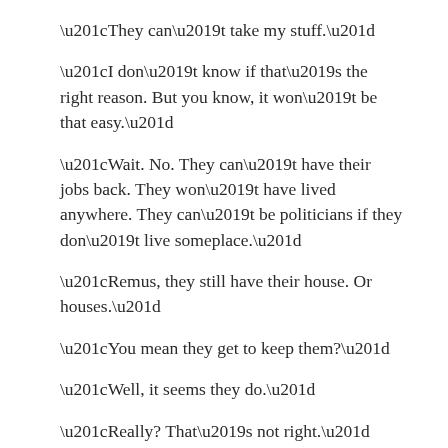“They can’t take my stuff.”
“I don’t know if that’s the right reason. But you know, it won’t be that easy.”
“Wait. No. They can’t have their jobs back. They won’t have lived anywhere. They can’t be politicians if they don’t live someplace.”
“Remus, they still have their house. Or houses.”
“You mean they get to keep them?”
“Well, it seems they do.”
“Really? That’s not right.”
“So they’ll just become mayor or a